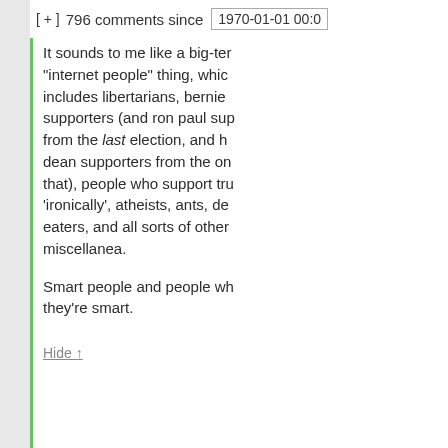[ + ]  796 comments since  1970-01-01 00:0
It sounds to me like a big-tent "internet people" thing, which includes libertarians, bernie supporters (and ron paul supporters from the last election, and howard dean supporters from the one before that), people who support trump 'ironically', atheists, ants, dental eaters, and all sorts of other miscellanea.

Smart people and people who think they're smart.
Hide ↑
rlms says: May 11, 2017 at 3:5